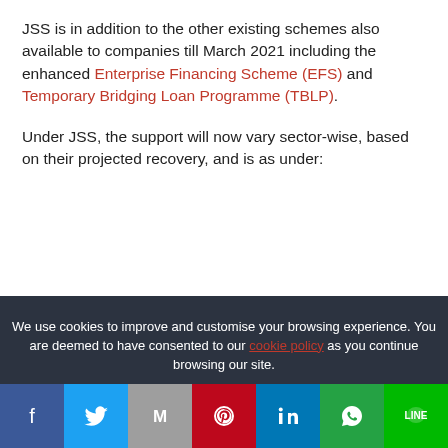JSS is in addition to the other existing schemes also available to companies till March 2021 including the enhanced Enterprise Financing Scheme (EFS) and Temporary Bridging Loan Programme (TBLP).
Under JSS, the support will now vary sector-wise, based on their projected recovery, and is as under:
We use cookies to improve and customise your browsing experience. You are deemed to have consented to our cookie policy as you continue browsing our site.